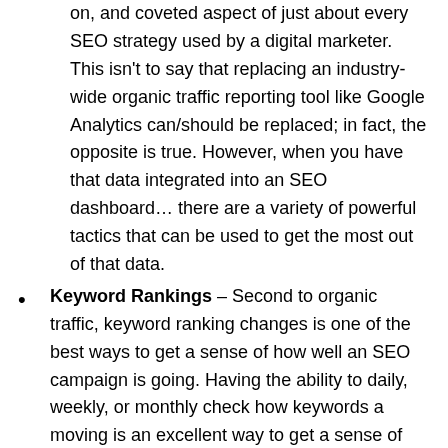on, and coveted aspect of just about every SEO strategy used by a digital marketer. This isn't to say that replacing an industry-wide organic traffic reporting tool like Google Analytics can/should be replaced; in fact, the opposite is true. However, when you have that data integrated into an SEO dashboard... there are a variety of powerful tactics that can be used to get the most out of that data.
Keyword Rankings – Second to organic traffic, keyword ranking changes is one of the best ways to get a sense of how well an SEO campaign is going. Having the ability to daily, weekly, or monthly check how keywords a moving is an excellent way to get a sense of whether or not an SEO strategy is going in the right direction.
Mapped Pages – Similar to organic traffic, being able to look at how specific pages are performing from an SEO perspective puts digital marketers in a great place to get the most out of those pages. Looking at more than just traffic, but how the page is converting, what long-tail keywords and